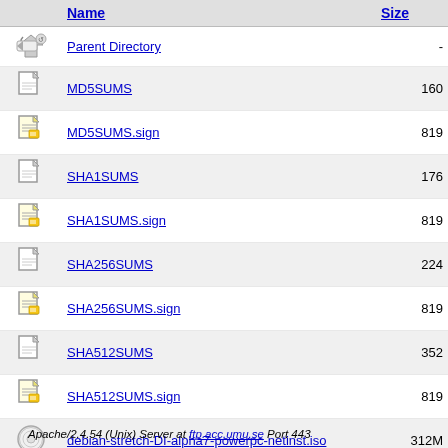|  | Name | Size |
| --- | --- | --- |
| [back] | Parent Directory | - |
| [file] | MD5SUMS | 160 |
| [sign] | MD5SUMS.sign | 819 |
| [file] | SHA1SUMS | 176 |
| [sign] | SHA1SUMS.sign | 819 |
| [file] | SHA256SUMS | 224 |
| [sign] | SHA256SUMS.sign | 819 |
| [file] | SHA512SUMS | 352 |
| [sign] | SHA512SUMS.sign | 819 |
| [iso] | debian-stretch-DI-alpha7-powerpc-netinst.iso | 312M |
| [iso] | debian-stretch-DI-alpha7-powerpc-xfce-CD-1.iso | 647M |
Apache/2.4.54 (Unix) Server at ftp.acc.umu.se Port 443